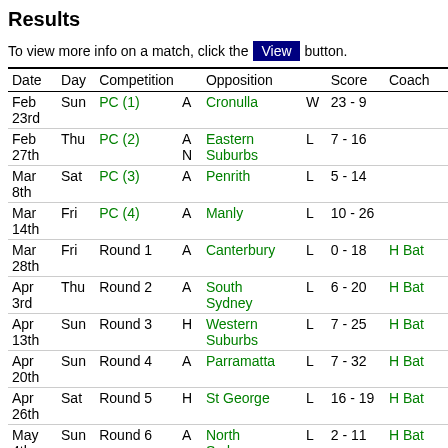Results
To view more info on a match, click the View button.
| Date | Day | Competition |  | Opposition |  | Score | Coach |
| --- | --- | --- | --- | --- | --- | --- | --- |
| Feb 23rd | Sun | PC (1) | A | Cronulla | W | 23 - 9 |  |
| Feb 27th | Thu | PC (2) | A N | Eastern Suburbs | L | 7 - 16 |  |
| Mar 8th | Sat | PC (3) | A | Penrith | L | 5 - 14 |  |
| Mar 14th | Fri | PC (4) | A | Manly | L | 10 - 26 |  |
| Mar 28th | Fri | Round 1 | A | Canterbury | L | 0 - 18 | H Bat |
| Apr 3rd | Thu | Round 2 | A | South Sydney | L | 6 - 20 | H Bat |
| Apr 13th | Sun | Round 3 | H | Western Suburbs | L | 7 - 25 | H Bat |
| Apr 20th | Sun | Round 4 | A | Parramatta | L | 7 - 32 | H Bat |
| Apr 26th | Sat | Round 5 | H | St George | L | 16 - 19 | H Bat |
| May 4th | Sun | Round 6 | A | North Sydney | L | 2 - 11 | H Bat |